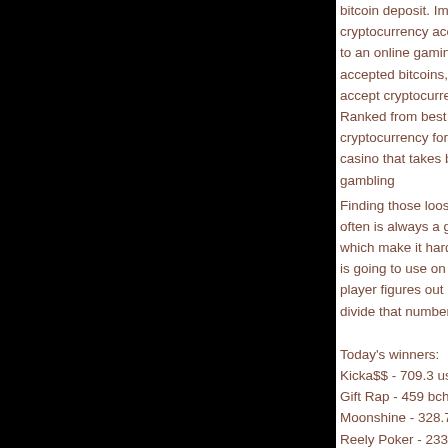[Figure (photo): Large black rectangle occupying the left portion of the page]
bitcoin deposit. Impe... cryptocurrency acce... to an online gaming ... accepted bitcoins, bu... accept cryptocurrenc... Ranked from best to ... cryptocurrency for de... casino that takes bitc... gambling Finding those loose o... often is always a goo... which make it hard to... is going to use on an... player figures out ho... divide that number b...
Today's winners:
Kicka$$ - 709.3 usdt...
Gift Rap - 459 bch
Moonshine - 328.7 lt...
Reely Poker - 233.9...
Banda King - 53 ...